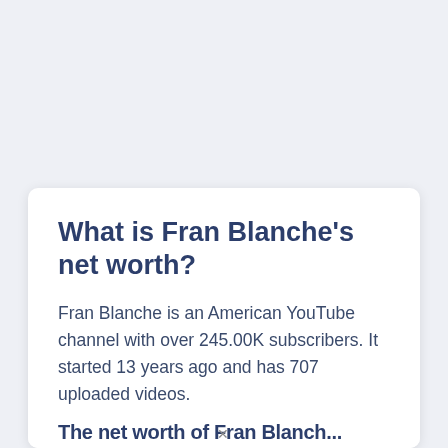What is Fran Blanche's net worth?
Fran Blanche is an American YouTube channel with over 245.00K subscribers. It started 13 years ago and has 707 uploaded videos.
The net worth of Fran Blanche is...